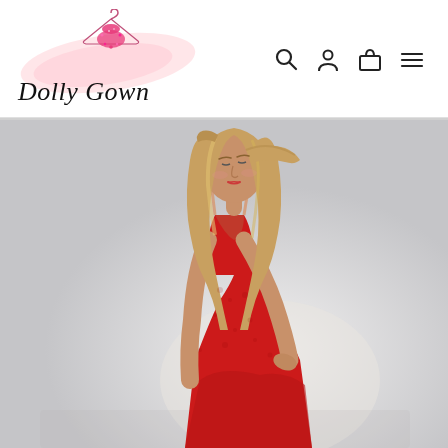[Figure (logo): Dolly Gown brand logo with a pink watercolor splash, a pink sparkly dress on a hanger icon above, and 'Dolly Gown' in cursive script text]
[Figure (other): Navigation icons: search (magnifying glass), account (person silhouette), cart (shopping bag), and hamburger menu (three horizontal lines)]
[Figure (photo): A young woman with long wavy blonde hair wearing a red sleeveless lace-fitted gown, looking down and posing with hand on hip against a light grey/white background]